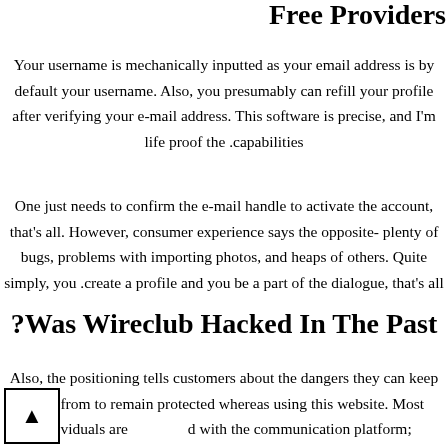Free Providers
Your username is mechanically inputted as your email address is by default your username. Also, you presumably can refill your profile after verifying your e-mail address. This software is precise, and I'm life proof the capabilities.
One just needs to confirm the e-mail handle to activate the account, that's all. However, consumer experience says the opposite- plenty of bugs, problems with importing photos, and heaps of others. Quite simply, you create a profile and you be a part of the dialogue, that's all.
Was Wireclub Hacked In The Past?
Also, the positioning tells customers about the dangers they can keep away from to remain protected whereas using this website. Most individuals are satisfied with the communication platform; complaints are rare. No devoted telephone number or WhatsApp quantity is there to entertain buyer care